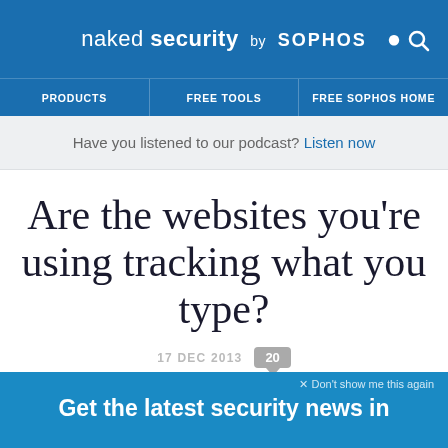naked security by SOPHOS
PRODUCTS   FREE TOOLS   FREE SOPHOS HOME
Have you listened to our podcast? Listen now
Are the websites you’re using tracking what you type?
17 DEC 2013  20
Facebook, Privacy
× Don’t show me this again
Get the latest security news in